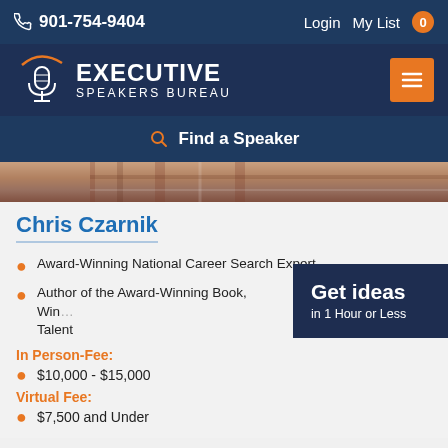901-754-9404  Login  My List 0
[Figure (logo): Executive Speakers Bureau logo with microphone icon and orange arc]
Find a Speaker
[Figure (photo): Partial photo of Chris Czarnik in plaid shirt]
Chris Czarnik
Award-Winning National Career Search Expert
Author of the Award-Winning Book, Win... Talent
[Figure (infographic): Get ideas in 1 Hour or Less banner (dark navy)]
In Person-Fee:
$10,000 - $15,000
Virtual Fee:
$7,500 and Under